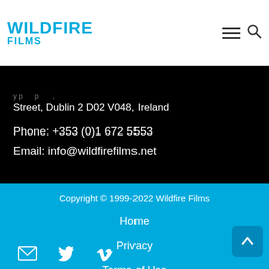WILDFIRE FILMS
Street, Dublin 2 D02 V048, Ireland
Phone: +353 (0)1 672 5553
Email: info@wildfirefilms.net
Copyright © 1999-2022 Wildfire Films
Home
Privacy
Terms of Use